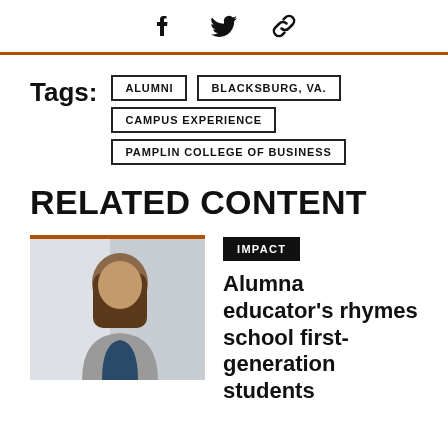[Figure (other): Social media sharing icons: Facebook, Twitter, and link/chain icon]
Tags:  ALUMNI  BLACKSBURG, VA.  CAMPUS EXPERIENCE  PAMPLIN COLLEGE OF BUSINESS
RELATED CONTENT
[Figure (photo): Photo of a smiling young Black woman with long braids, wearing a grey blazer over a dark top, seated in a light-colored interior setting]
IMPACT
Alumna educator's rhymes school first-generation students